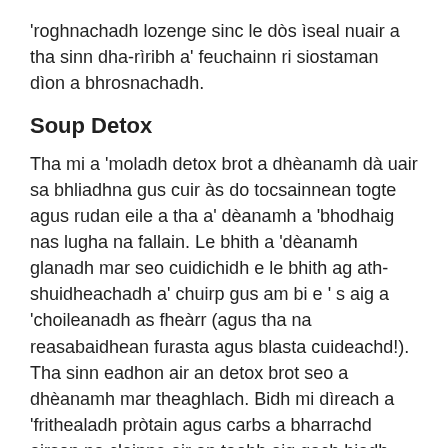'roghnachadh lozenge sinc le dòs ìseal nuair a tha sinn dha-rìribh a' feuchainn ri siostaman dìon a bhrosnachadh.
Soup Detox
Tha mi a 'moladh detox brot a dhèanamh dà uair sa bhliadhna gus cuir às do tocsainnean togte agus rudan eile a tha a' dèanamh a 'bhodhaig nas lugha na fallain. Le bhith a 'dèanamh glanadh mar seo cuidichidh e le bhith ag ath-shuidheachadh a' chuirp gus am bi e ' s aig a 'choileanadh as fheàrr (agus tha na reasabaidhean furasta agus blasta cuideachd!). Tha sinn eadhon air an detox brot seo a dhèanamh mar theaghlach. Bidh mi dìreach a 'frithealadh pròtain agus carbs a bharrachd airson na cloinne air an taobh aig gach biadh.
Seillean Propolis
Is e Bee propolis an glaodh a tha a 'cumail a' bhàta còmhla agus ga dhìon bho luchd-ionnsaigh de gach seòrsa. Tha Bee propolis antibacterial agus antimicrobial.